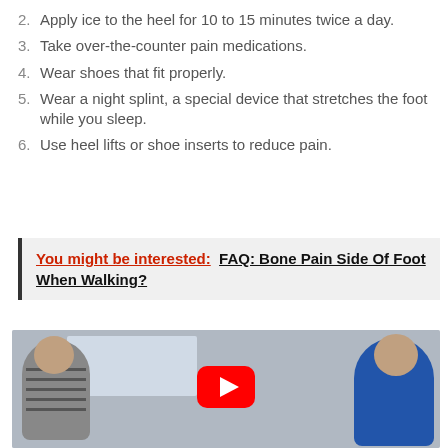2. Apply ice to the heel for 10 to 15 minutes twice a day.
3. Take over-the-counter pain medications.
4. Wear shoes that fit properly.
5. Wear a night splint, a special device that stretches the foot while you sleep.
6. Use heel lifts or shoe inserts to reduce pain.
You might be interested:  FAQ: Bone Pain Side Of Foot When Walking?
[Figure (photo): Two men, one in a striped shirt and one in a blue jacket, appearing to examine a foot. A whiteboard is visible in the background. A YouTube play button overlay is centered on the image.]